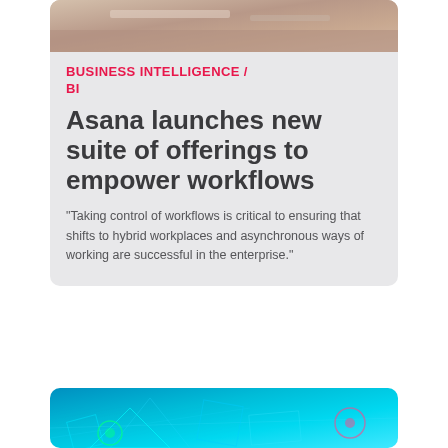[Figure (photo): Top portion of a card showing a blurred laptop/desk scene photo]
BUSINESS INTELLIGENCE / BI
Asana launches new suite of offerings to empower workflows
"Taking control of workflows is critical to ensuring that shifts to hybrid workplaces and asynchronous ways of working are successful in the enterprise."
[Figure (photo): Futuristic teal/cyan technology visualization with glowing geometric shapes and circuit-like elements on a bright blue background]